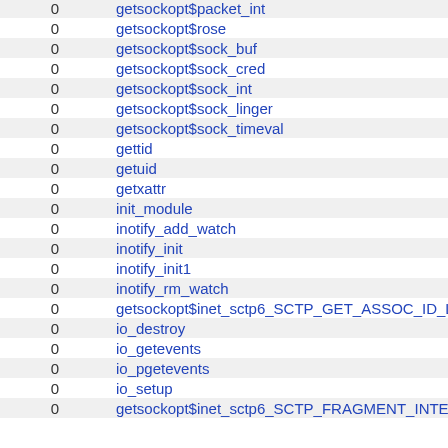| 0 | name |
| --- | --- |
| 0 | getsockopt$packet_int |
| 0 | getsockopt$rose |
| 0 | getsockopt$sock_buf |
| 0 | getsockopt$sock_cred |
| 0 | getsockopt$sock_int |
| 0 | getsockopt$sock_linger |
| 0 | getsockopt$sock_timeval |
| 0 | gettid |
| 0 | getuid |
| 0 | getxattr |
| 0 | init_module |
| 0 | inotify_add_watch |
| 0 | inotify_init |
| 0 | inotify_init1 |
| 0 | inotify_rm_watch |
| 0 | getsockopt$inet_sctp6_SCTP_GET_ASSOC_ID_LIST |
| 0 | io_destroy |
| 0 | io_getevents |
| 0 | io_pgetevents |
| 0 | io_setup |
| 0 | getsockopt$inet_sctp6_SCTP_FRAGMENT_INTERLEA... |